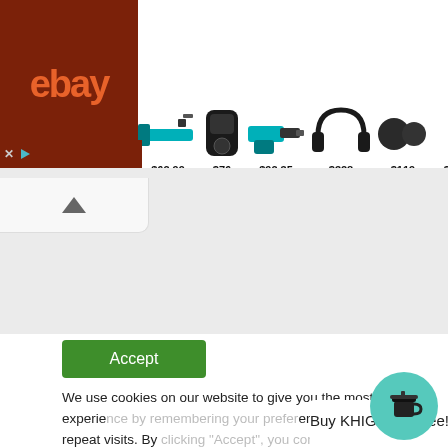[Figure (screenshot): eBay advertisement banner showing products with prices: $62.99 (tool), $76 (speaker), $92.35 (drill), $328 (headphones), $119 (massage balls), $109 (earphones/hook)]
[Figure (screenshot): Browser scroll-up button (caret/arrow pointing up) on gray background]
TAG
Kdrama
[Figure (screenshot): Green Accept button for cookie consent]
We use cookies on our website to give you the most relevant experience by remembering your preferences and repeat visits. By clicking "Accept", you consent to the use of ALL the c
Buy KHIGH a coffee!
[Figure (illustration): Teal/green circular button with coffee cup icon - Buy Me a Coffee widget]